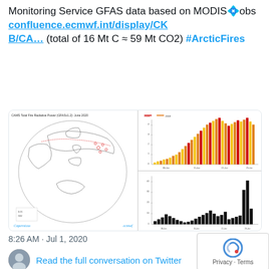Monitoring Service GFAS data based on MODIS obs confluence.ecmwf.int/display/CKB/CA… (total of 16 Mt C ≈ 59 Mt CO2) #ArcticFires
[Figure (other): A composite image showing a polar map of fire radiative power for June 2020 on the left, a stacked bar chart of total fire radiative power on the upper right (orange/red/gold bars increasing sharply), and a black bar chart on the lower right showing cumulative fire emissions.]
8:26 AM · Jul 1, 2020
Read the full conversation on Twitter